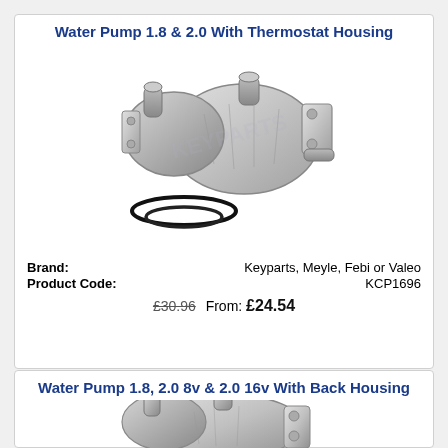Water Pump 1.8 & 2.0 With Thermostat Housing
[Figure (photo): Water pump 1.8 & 2.0 with thermostat housing — metal automotive water pump assembly with O-ring seals]
Brand: Keyparts, Meyle, Febi or Valeo
Product Code: KCP1696
£30.96  From: £24.54
Water Pump 1.8, 2.0 8v & 2.0 16v With Back Housing
[Figure (photo): Water pump 1.8, 2.0 8v & 2.0 16v with back housing — metal automotive water pump assembly]